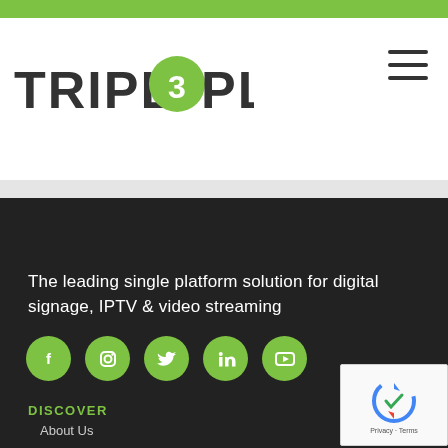[Figure (logo): Triploplay logo with green circle containing '3' in the letter O]
The leading single platform solution for digital signage, IPTV & video streaming
[Figure (infographic): Social media icons: Facebook, Instagram, Twitter, LinkedIn, YouTube — green circles with white icons]
DISCOVER
About Us
What is IPTV?